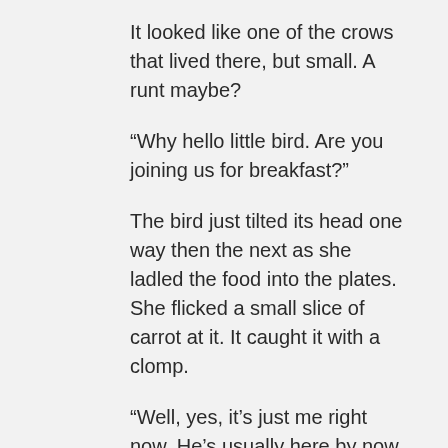It looked like one of the crows that lived there, but small. A runt maybe?
“Why hello little bird. Are you joining us for breakfast?”
The bird just tilted its head one way then the next as she ladled the food into the plates. She flicked a small slice of carrot at it. It caught it with a clomp.
“Well, yes, it’s just me right now. He’s usually here by now. He’s probably just late.” She sat down and started, if that could be described as stirring her rice.
“Just overslept, I’m sure.” The bird simply stared at her.